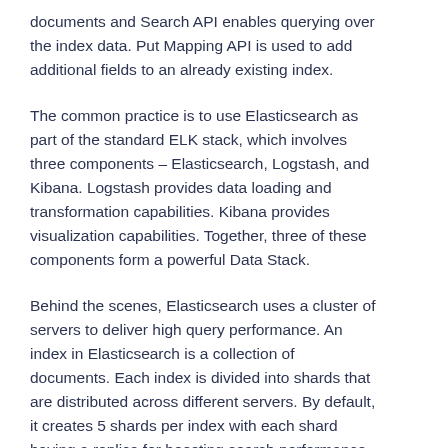documents and Search API enables querying over the index data. Put Mapping API is used to add additional fields to an already existing index.
The common practice is to use Elasticsearch as part of the standard ELK stack, which involves three components – Elasticsearch, Logstash, and Kibana. Logstash provides data loading and transformation capabilities. Kibana provides visualization capabilities. Together, three of these components form a powerful Data Stack.
Behind the scenes, Elasticsearch uses a cluster of servers to deliver high query performance. An index in Elasticsearch is a collection of documents. Each index is divided into shards that are distributed across different servers. By default, it creates 5 shards per index with each shard having a replica for boosting search performance. Index requests are handled only by the primary shards and search requests are